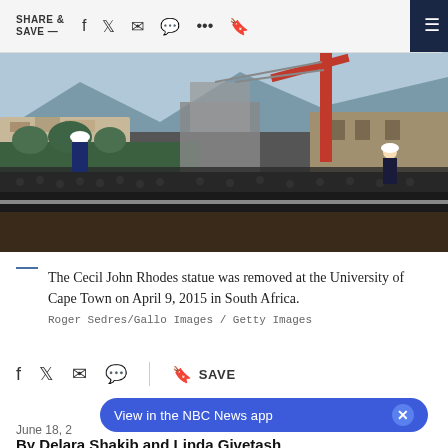SHARE & SAVE —
[Figure (photo): Workers in hard hats removing the Cecil John Rhodes statue with a crane at the University of Cape Town, surrounded by a large crowd of spectators, April 9, 2015, South Africa.]
The Cecil John Rhodes statue was removed at the University of Cape Town on April 9, 2015 in South Africa.
Roger Sedres/Gallo Images / Getty Images
View in the NBC News app
June 18, 2
By Delara Shakib and Linda Givetash